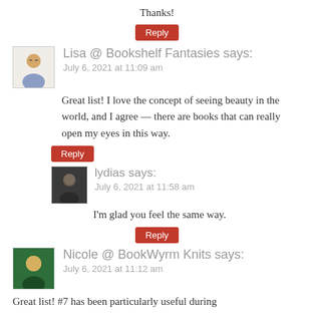Thanks!
Reply
Lisa @ Bookshelf Fantasies says:
July 6, 2021 at 11:09 am
Great list! I love the concept of seeing beauty in the world, and I agree — there are books that can really open my eyes in this way.
Reply
lydias says:
July 6, 2021 at 11:58 am
I'm glad you feel the same way.
Reply
Nicole @ BookWyrm Knits says:
July 6, 2021 at 11:12 am
Great list! #7 has been particularly useful during